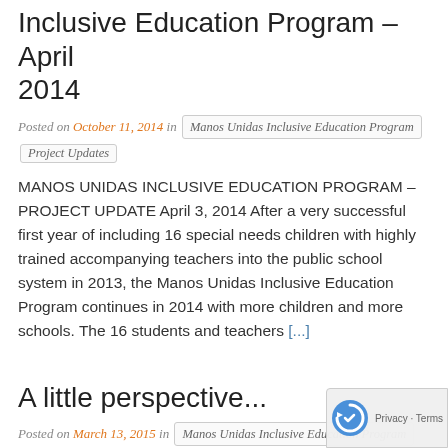Inclusive Education Program – April 2014
Posted on October 11, 2014 in Manos Unidas Inclusive Education Program Project Updates
MANOS UNIDAS INCLUSIVE EDUCATION PROGRAM – PROJECT UPDATE April 3, 2014 After a very successful first year of including 16 special needs children with highly trained accompanying teachers into the public school system in 2013, the Manos Unidas Inclusive Education Program continues in 2014 with more children and more schools. The 16 students and teachers [...]
A little perspective...
Posted on March 13, 2015 in Manos Unidas Inclusive Education Program Project Updates The Alma Community
February is Kindergarten registration month in Toronto. I have found the whole process to be incredibly stressful, wringing my hands over questions like: Is our home school good enough? Should we put our names in for one of the